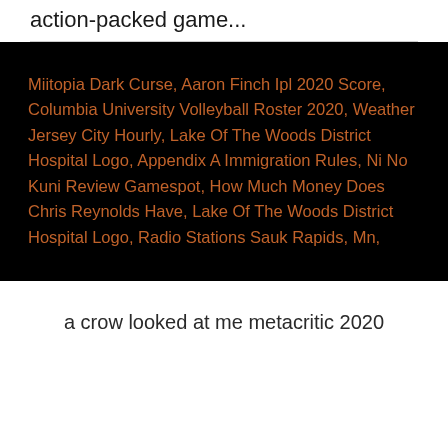action-packed game...
Miitopia Dark Curse, Aaron Finch Ipl 2020 Score, Columbia University Volleyball Roster 2020, Weather Jersey City Hourly, Lake Of The Woods District Hospital Logo, Appendix A Immigration Rules, Ni No Kuni Review Gamespot, How Much Money Does Chris Reynolds Have, Lake Of The Woods District Hospital Logo, Radio Stations Sauk Rapids, Mn,
a crow looked at me metacritic 2020